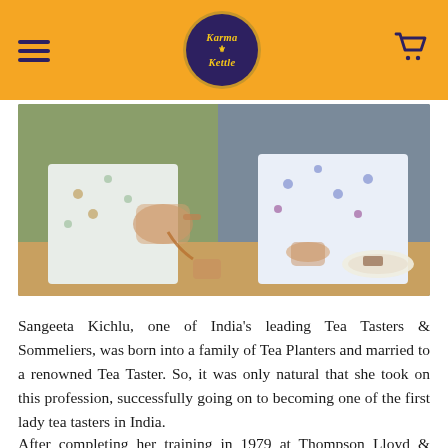Karma Kettle
[Figure (photo): Two people sitting at a wooden table at a Karma Kettle cafe. One person is pouring tea from a glass teapot into a glass cup. The other person is holding a glass cup of tea. There are tea cups, a saucer, and snacks on the table. Green and grey walls visible in background.]
Sangeeta Kichlu, one of India’s leading Tea Tasters & Sommeliers, was born into a family of Tea Planters and married to a renowned Tea Taster. So, it was only natural that she took on this profession, successfully going on to becoming one of the first lady tea tasters in India.
After completing her training in 1979 at Thompson Lloyd & Ewart in London, Sangeeta worked with many leading tea companies in various roles- as a tea taster, trader, exporter, blender, and other tea-related function. Finally, in 2012 she started her own company – SARA Tea Pvt Ltd for consulting and